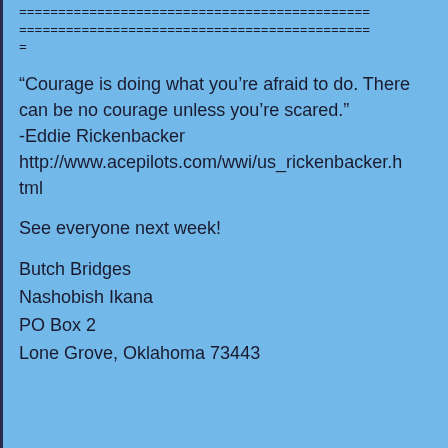=============================================
=============================================
=
“Courage is doing what you’re afraid to do. There can be no courage unless you’re scared.” -Eddie Rickenbacker http://www.acepilots.com/wwi/us_rickenbacker.html
See everyone next week!
Butch Bridges
Nashobish Ikana
PO Box 2
Lone Grove, Oklahoma 73443